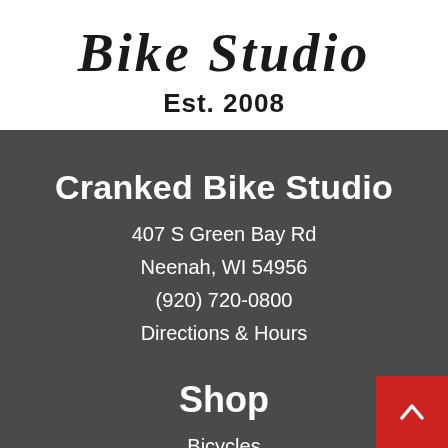[Figure (logo): Bike Studio cursive logo text, partially cropped at top]
Est. 2008
Cranked Bike Studio
407 S Green Bay Rd
Neenah, WI 54956
(920) 720-0800
Directions & Hours
Shop
Bicycles
Cycling Apparel